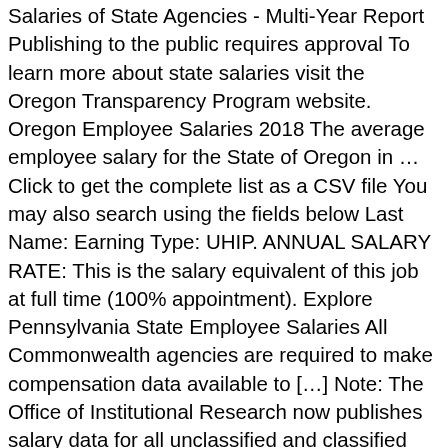Salaries of State Agencies - Multi-Year Report Publishing to the public requires approval To learn more about state salaries visit the Oregon Transparency Program website. Oregon Employee Salaries 2018 The average employee salary for the State of Oregon in … Click to get the complete list as a CSV file You may also search using the fields below Last Name: Earning Type: UHIP. ANNUAL SALARY RATE: This is the salary equivalent of this job at full time (100% appointment). Explore Pennsylvania State Employee Salaries All Commonwealth agencies are required to make compensation data available to […] Note: The Office of Institutional Research now publishes salary data for all unclassified and classified position classes three times a year.In the fall, we will publish salaries for all employees as of October 31. Salary data may not reconcile to a full-time annualized salary rate or actual wages paid. REPR Class Pay Opt Range Opt Salary Range Rate 1 Rate 2 Rate 3 Rate 4 Rate 5 Rate 6 Rate 7 Rate 8 Rate 9 Rate 10 Rate 11 Rate 12 Rate 13 Rate 14 Rate 15 Rate 16 Rate 17 The Lottery separated from the State's payroll system on June 1, 2013. […] The Office of the Maryland Comptroller has announced...